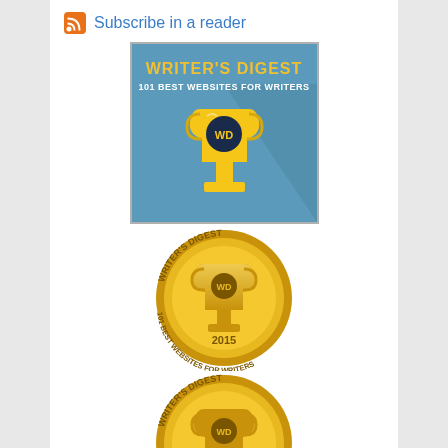Subscribe in a reader
[Figure (logo): Writer's Digest 101 Best Websites for Writers badge - blue square with gold trophy and WD circle logo]
[Figure (logo): Writer's Digest 101 Best Websites for Writers gold medal badge - 2015]
[Figure (logo): Writer's Digest 101 Best Websites for Writers gold medal badge - 2014 (partially visible)]